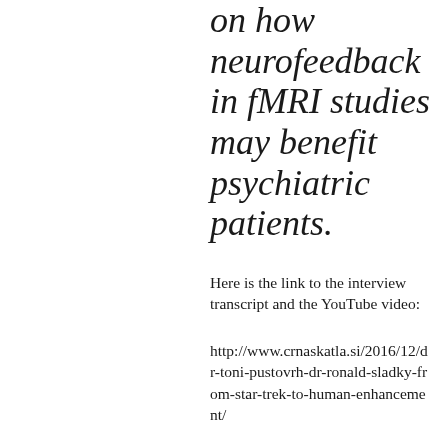on how neurofeedback in fMRI studies may benefit psychiatric patients.
Here is the link to the interview transcript and the YouTube video:
http://www.crnaskatla.si/2016/12/dr-toni-pustovrh-dr-ronald-sladky-from-star-trek-to-human-enhancement/